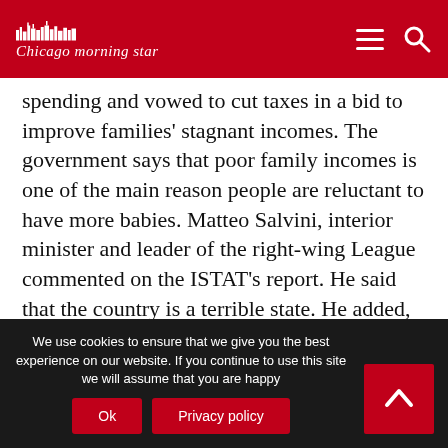Chicago morning star
spending and vowed to cut taxes in a bid to improve families' stagnant incomes. The government says that poor family incomes is one of the main reason people are reluctant to have more babies. Matteo Salvini, interior minister and leader of the right-wing League commented on the ISTAT's report. He said that the country is a terrible state. He added, “This is the real crisis, not the bond yield spreads or the economic crisis.”
People coming into the country has also dropped as new residents coming from abroad decreased by
We use cookies to ensure that we give you the best experience on our website. If you continue to use this site we will assume that you are happy
Ok
Privacy policy